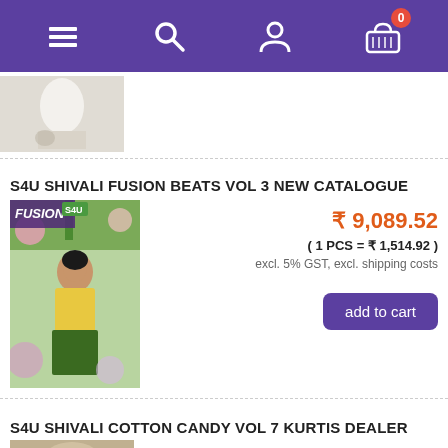Navigation bar with menu, search, user, and cart icons
[Figure (photo): Product image of a white saree/outfit, partially visible at top of page]
S4U SHIVALI FUSION BEATS VOL 3 NEW CATALOGUE
[Figure (photo): Fusion Beats catalogue cover showing a woman in a green and yellow outfit surrounded by flowers]
₹ 9,089.52
( 1 PCS = ₹ 1,514.92 )
excl. 5% GST, excl. shipping costs
add to cart
S4U SHIVALI COTTON CANDY VOL 7 KURTIS DEALER
[Figure (photo): Partial product image at bottom of page]